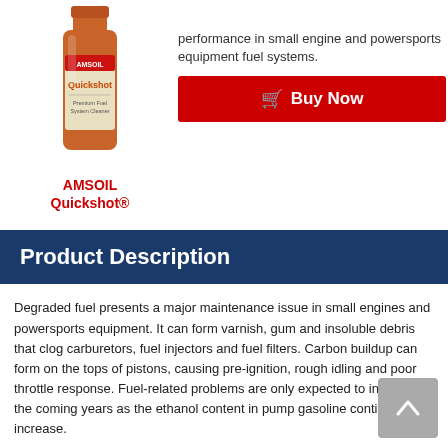[Figure (photo): AMSOIL Quickshot bottle product image - orange/red bottle]
performance in small engine and powersports equipment fuel systems.
[Figure (other): Buy Now button in red with shopping cart icon]
AMSOIL Quickshot®
Product Description
Degraded fuel presents a major maintenance issue in small engines and powersports equipment. It can form varnish, gum and insoluble debris that clog carburetors, fuel injectors and fuel filters. Carbon buildup can form on the tops of pistons, causing pre-ignition, rough idling and poor throttle response. Fuel-related problems are only expected to intensify in the coming years as the ethanol content in pump gasoline continues to increase.
AMSOIL Quickshot (AQS) is a premium fuel additive formulated to thoroughly clean and restore peak performance in small engine and powersports equipment fuel systems.